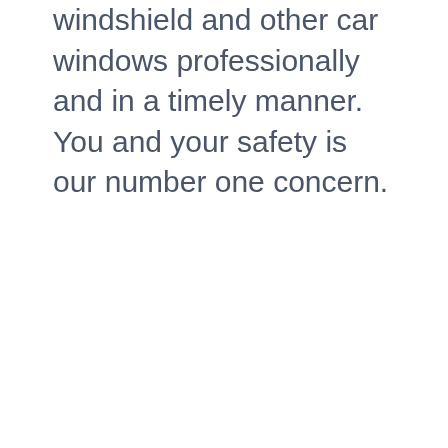windshield and other car windows professionally and in a timely manner. You and your safety is our number one concern.